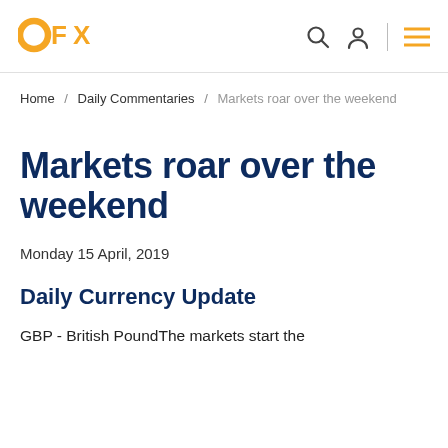OFX [navigation icons]
Home / Daily Commentaries / Markets roar over the weekend
Markets roar over the weekend
Monday 15 April, 2019
Daily Currency Update
GBP - British PoundThe markets start the